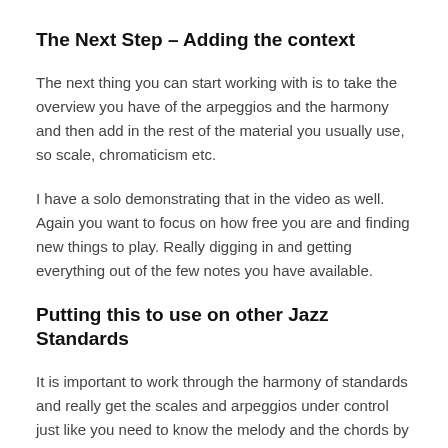The Next Step – Adding the context
The next thing you can start working with is to take the overview you have of the arpeggios and the harmony and then add in the rest of the material you usually use, so scale, chromaticism etc.
I have a solo demonstrating that in the video as well. Again you want to focus on how free you are and finding new things to play. Really digging in and getting everything out of the few notes you have available.
Putting this to use on other Jazz Standards
It is important to work through the harmony of standards and really get the scales and arpeggios under control just like you need to know the melody and the chords by heart.